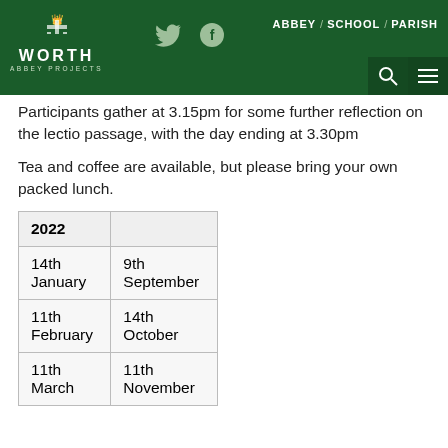Worth Abbey Projects — ABBEY / SCHOOL / PARISH
Participants gather at 3.15pm for some further reflection on the lectio passage, with the day ending at 3.30pm
Tea and coffee are available, but please bring your own packed lunch.
| 2022 |  |
| --- | --- |
| 14th January | 9th September |
| 11th February | 14th October |
| 11th March | 11th November |